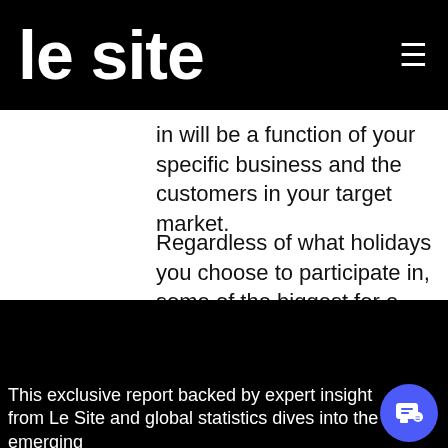le site
in will be a function of your specific business and the customers in your target market.
Regardless of what holidays you choose to participate in, some of the biggest for e-commerce brands are Black Friday and Cyber
[Figure (screenshot): Promotional popup showing 'Report: B2B Ecommerce Trends for 2022' with thumbnail image on black background]
This exclusive report backed by expert insight from Le Site and global statistics dives into the emerging trends that will likely shape 2022's B2B e-Commerce...